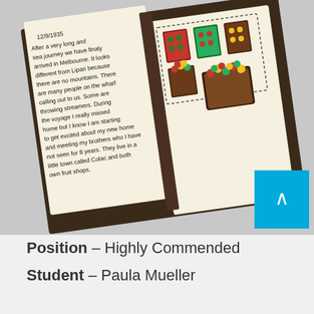[Figure (photo): A handmade fabric book opened to show two pages. The left page has handwritten text dated 12/9/1935 describing a sea journey to Melbourne, arriving from Lipari, noting differences from home and anticipation of meeting brothers in a town called Colac who own fruit shops. The right page shows decorative fabric appliqué images of boxes and baskets of fruit (red, green, yellow items) on brown containers.]
Position – Highly Commended
Student – Paula Mueller